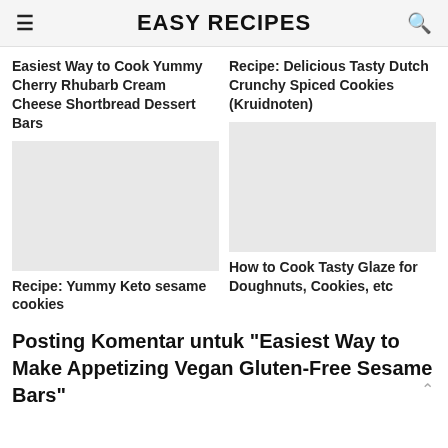EASY RECIPES
Easiest Way to Cook Yummy Cherry Rhubarb Cream Cheese Shortbread Dessert Bars
[Figure (photo): Placeholder image for Cherry Rhubarb Cream Cheese Shortbread Dessert Bars recipe]
Recipe: Delicious Tasty Dutch Crunchy Spiced Cookies (Kruidnoten)
[Figure (photo): Placeholder image for Dutch Crunchy Spiced Cookies recipe]
Recipe: Yummy Keto sesame cookies
[Figure (photo): Placeholder image for Keto sesame cookies recipe]
How to Cook Tasty Glaze for Doughnuts, Cookies, etc
[Figure (photo): Placeholder image for Glaze for Doughnuts recipe]
Posting Komentar untuk "Easiest Way to Make Appetizing Vegan Gluten-Free Sesame Bars"